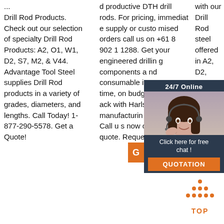... Drill Rod Products. Check out our selection of specialty Drill Rod Products: A2, O1, W1, D2, S7, M2, & V44. Advantage Tool Steel supplies Drill Rod products in a variety of grades, diameters, and lengths. Call Today! 1-877-290-5578. Get a Quote!
d productive DTH drill rods. For pricing, immediate supply or customised orders call us on +61 8 902 1 1288. Get your engineered drilling components and consumable items on time, on budget and on track with Harlsan's manufacturing services. Call us now or request a quote. Request
with our Drill Rod steel offered in A2, D2, H13, L6, M2, O1, S7, and W1 rod mo rill b
[Figure (photo): Customer service representative woman with headset smiling, shown in a 24/7 Online chat widget with dark blue background]
24/7 Online
Click here for free chat !
QUOTATION
[Figure (infographic): Orange dotted triangle/arrow pointing up with TOP label below it, indicating a back-to-top button]